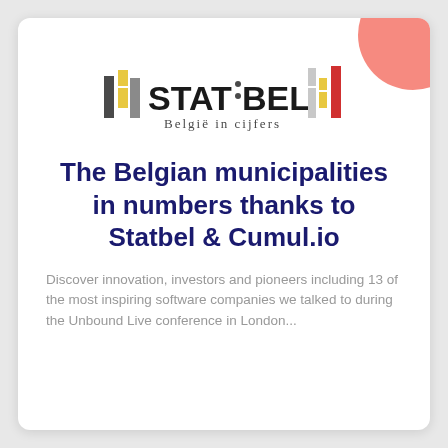[Figure (logo): Statbel logo with bar chart icons and text 'België in cijfers']
The Belgian municipalities in numbers thanks to Statbel & Cumul.io
Discover innovation, investors and pioneers including 13 of the most inspiring software companies we talked to during the Unbound Live conference in London...